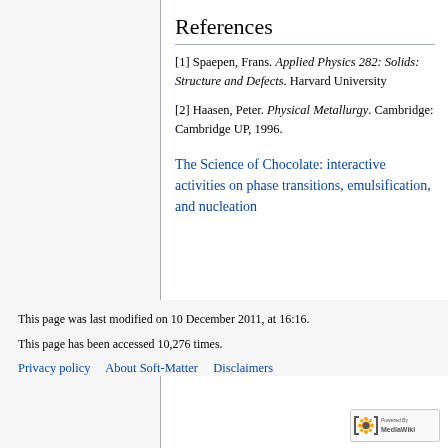References
[1] Spaepen, Frans. Applied Physics 282: Solids: Structure and Defects. Harvard University
[2] Haasen, Peter. Physical Metallurgy. Cambridge: Cambridge UP, 1996.
The Science of Chocolate: interactive activities on phase transitions, emulsification, and nucleation
This page was last modified on 10 December 2011, at 16:16.

This page has been accessed 10,276 times.

Privacy policy   About Soft-Matter   Disclaimers